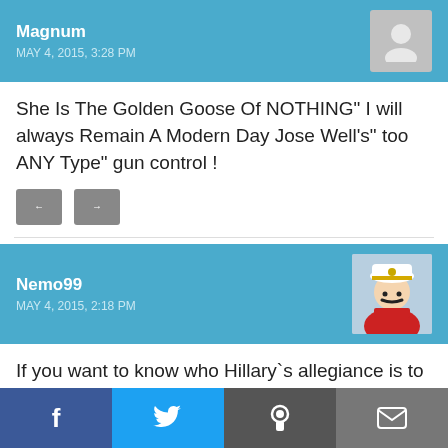Magnum — MAY 4, 2015, 3:28 PM
She Is The Golden Goose Of NOTHING" I will always Remain A Modern Day Jose Well's" too ANY Type" gun control !
Nemo99 — MAY 4, 2015, 2:18 PM
If you want to know who Hillary`s allegiance is to then google the following ...Virginia ...ay and the fix was in.